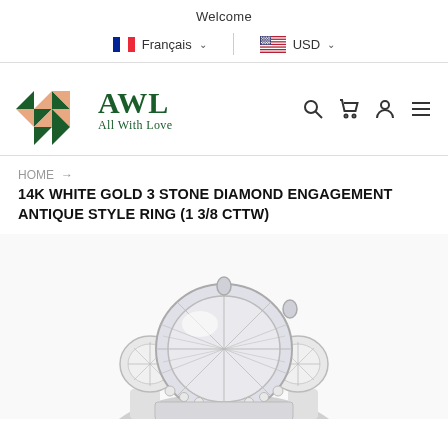Welcome
Français ∨  |  USD ∨
[Figure (logo): AWL All With Love logo — geometric diamond/heart shape in salmon pink and dark green triangles, with text AWL All With Love in dark green serif font]
HOME → 14K WHITE GOLD 3 STONE DIAMOND ENGAGEMENT ANTIQUE STYLE RING (1 3/8 CTTW)
[Figure (photo): Close-up photo of a diamond engagement ring in white gold with a large round brilliant center diamond flanked by smaller diamonds in an antique style setting]